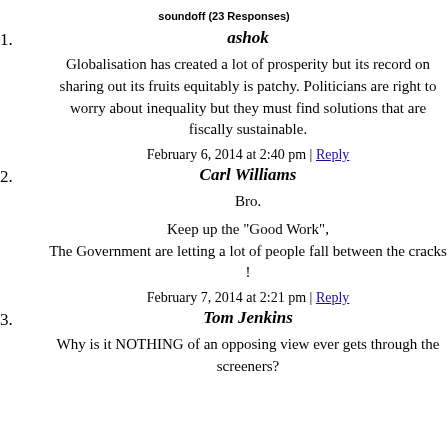soundoff (23 Responses)
1. ashok
Globalisation has created a lot of prosperity but its record on sharing out its fruits equitably is patchy. Politicians are right to worry about inequality but they must find solutions that are fiscally sustainable.
February 6, 2014 at 2:40 pm | Reply
2. Carl Williams
Bro.
Keep up the "Good Work",
The Government are letting a lot of people fall between the cracks !
February 7, 2014 at 2:21 pm | Reply
3. Tom Jenkins
Why is it NOTHING of an opposing view ever gets through the screeners?